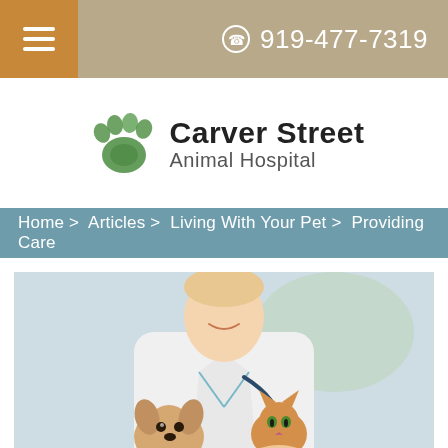919-477-7319
[Figure (logo): Carver Street Animal Hospital logo with green paw print]
Home > Articles > Living With Your Pet > Providing Care
[Figure (photo): Veterinarian in white coat holding a puppy and a kitten]